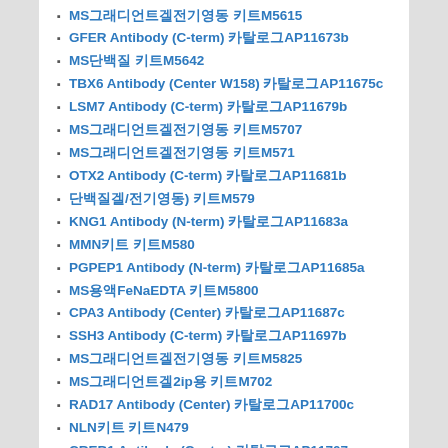MS그래디언트겔전기영동 키트M5615
GFER Antibody (C-term) 카탈로그AP11673b
MS단백질 키트M5642
TBX6 Antibody (Center W158) 카탈로그AP11675c
LSM7 Antibody (C-term) 카탈로그AP11679b
MS그래디언트겔전기영동 키트M5707
MS그래디언트겔전기영동 키트M571
OTX2 Antibody (C-term) 카탈로그AP11681b
단백질겔/전기영동) 키트M579
KNG1 Antibody (N-term) 카탈로그AP11683a
MMN키트 키트M580
PGPEP1 Antibody (N-term) 카탈로그AP11685a
MS용액FeNaEDTA 키트M5800
CPA3 Antibody (Center) 카탈로그AP11687c
SSH3 Antibody (C-term) 카탈로그AP11697b
MS그래디언트겔전기영동 키트M5825
MS그래디언트겔2ip용 키트M702
RAD17 Antibody (Center) 카탈로그AP11700c
NLN키트 키트N479
CREB1 Antibody (Center) 카탈로그AP11707c
0.1mlPCR96웰 카탈로그CP1000